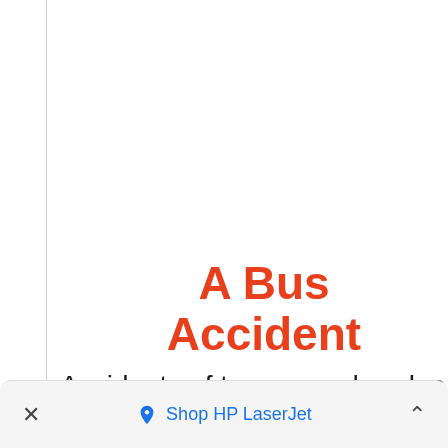A Bus Accident
Accidents of tongas and cycles
× 🏷 Shop HP LaserJet ^